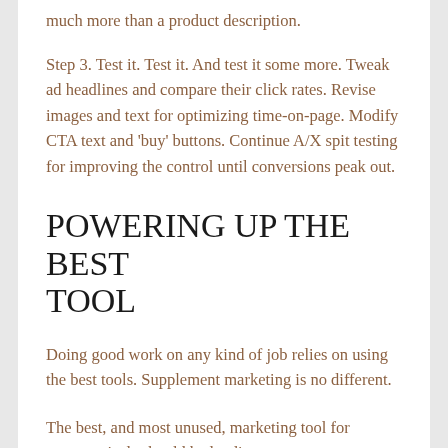much more than a product description.
Step 3. Test it. Test it. And test it some more. Tweak ad headlines and compare their click rates. Revise images and text for optimizing time-on-page. Modify CTA text and 'buy' buttons. Continue A/X spit testing for improving the control until conversions peak out.
POWERING UP THE BEST TOOL
Doing good work on any kind of job relies on using the best tools. Supplement marketing is no different.
The best, and most unused, marketing tool for nutraceuticals should be landing pages.